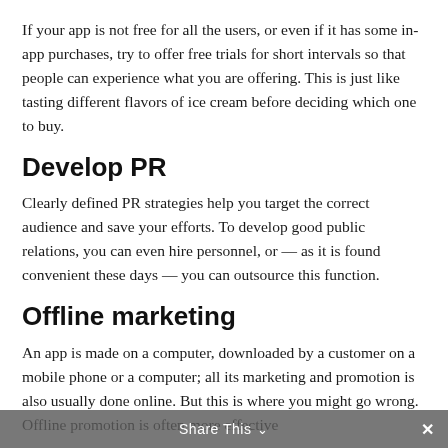If your app is not free for all the users, or even if it has some in-app purchases, try to offer free trials for short intervals so that people can experience what you are offering. This is just like tasting different flavors of ice cream before deciding which one to buy.
Develop PR
Clearly defined PR strategies help you target the correct audience and save your efforts. To develop good public relations, you can even hire personnel, or — as it is found convenient these days — you can outsource this function.
Offline marketing
An app is made on a computer, downloaded by a customer on a mobile phone or a computer; all its marketing and promotion is also usually done online. But this is where you might go wrong. Offline promotion is often more effective
Share This ∨  ×